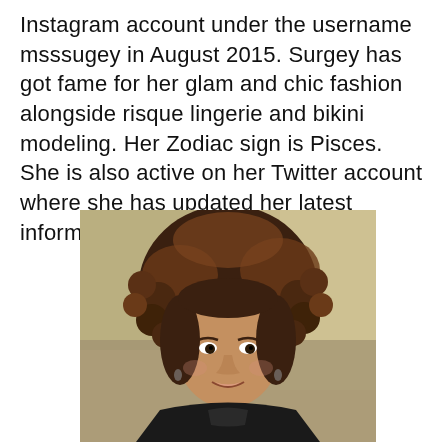Instagram account under the username msssugey in August 2015. Surgey has got fame for her glam and chic fashion alongside risque lingerie and bikini modeling. Her Zodiac sign is Pisces. She is also active on her Twitter account where she has updated her latest information stuff.
[Figure (photo): Headshot photo of a young woman with curly brown hair highlighted with auburn tones, smiling, wearing a black turtleneck top, photographed outdoors with a blurred background.]